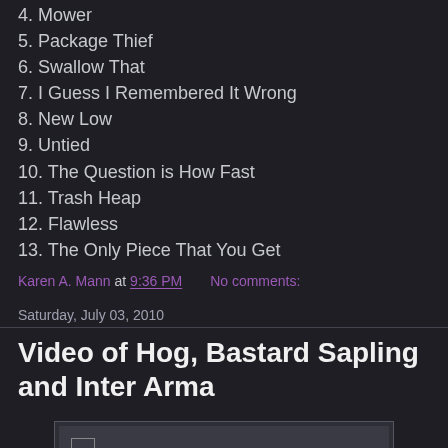4. Mower
5. Package Thief
6. Swallow That
7. I Guess I Remembered It Wrong
8. New Low
9. Untied
10. The Question is How Fast
11. Trash Heap
12. Flawless
13. The Only Piece That You Get
Karen A. Mann at 9:36 PM    No comments:
Saturday, July 03, 2010
Video of Hog, Bastard Sapling and Inter Arma
[Figure (other): Embedded video player with broken image icon in top-left corner, dark gray background]